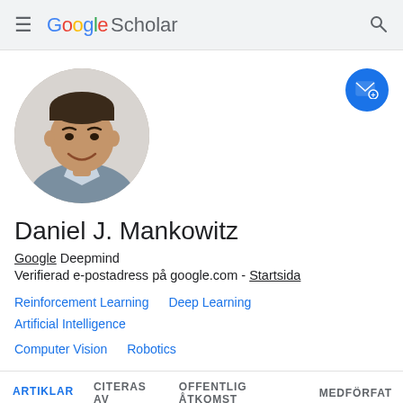Google Scholar
[Figure (photo): Profile photo of Daniel J. Mankowitz, a man in a collared shirt, shown in a circular crop]
Daniel J. Mankowitz
Google Deepmind
Verifierad e-postadress på google.com - Startsida
Reinforcement Learning
Deep Learning
Artificial Intelligence
Computer Vision
Robotics
ARTIKLAR   CITERAS AV   OFFENTLIG ÅTKOMST   MEDFÖRFAT
SORTERA ▾   CITERAS AV